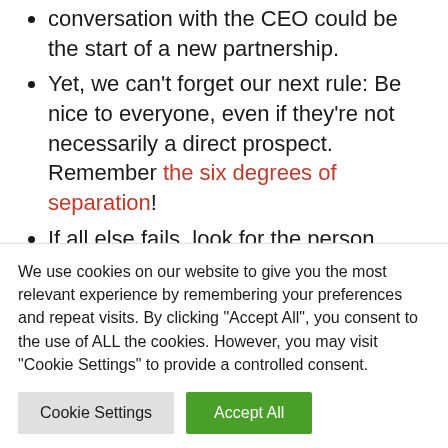conversation with the CEO could be the start of a new partnership.
Yet, we can't forget our next rule: Be nice to everyone, even if they're not necessarily a direct prospect. Remember the six degrees of separation!
If all else fails, look for the person standing on their own. They'll be grateful you approached them and saved them from that awkward moment. Or, if you see someone standing alone while you're already speaking to someone, give him or her a smile and welcome them into the conversation.
We use cookies on our website to give you the most relevant experience by remembering your preferences and repeat visits. By clicking "Accept All", you consent to the use of ALL the cookies. However, you may visit "Cookie Settings" to provide a controlled consent.